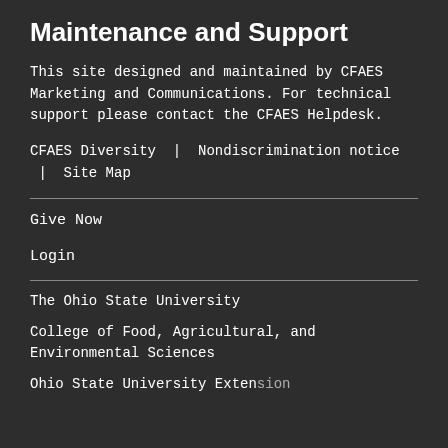Maintenance and Support
This site designed and maintained by CFAES Marketing and Communications. For technical support please contact the CFAES Helpdesk.
CFAES Diversity  |  Nondiscrimination notice  |  Site Map
Give Now
Login
The Ohio State University
College of Food, Agricultural, and Environmental Sciences
Ohio State University Extension